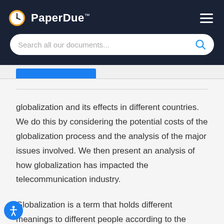PaperDue™
Search all our documents...
globalization and its effects in different countries. We do this by considering the potential costs of the globalization process and the analysis of the major issues involved. We then present an analysis of how globalization has impacted the telecommunication industry.
Globalization is a term that holds different meanings to different people according to the context. Beerkens